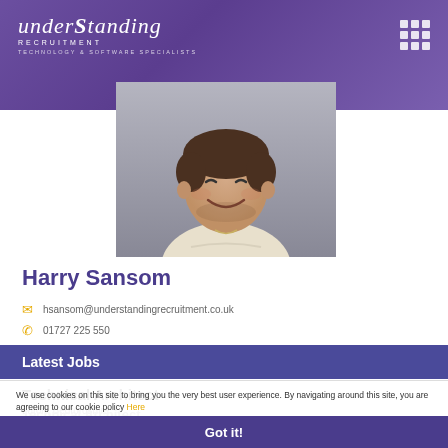[Figure (logo): Understanding Recruitment logo with tagline 'Technology & Software Specialists' on purple gradient header]
[Figure (photo): Profile photo of Harry Sansom, a smiling young man in a light beige top, grey background]
Harry Sansom
hsansom@understandingrecruitment.co.uk
01727 225 550
Latest Jobs
Technical Architect
Luton, Bedfordshire
We use cookies on this site to bring you the very best user experience. By navigating around this site, you are agreeing to our cookie policy Here
Technical Architect
London, England
£65000.00 - £78000.00 per annum + Excellent Benefits